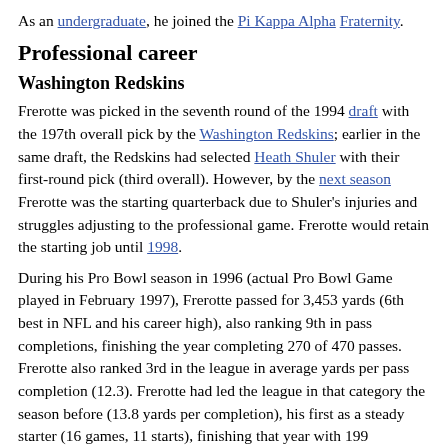As an undergraduate, he joined the Pi Kappa Alpha Fraternity.
Professional career
Washington Redskins
Frerotte was picked in the seventh round of the 1994 draft with the 197th overall pick by the Washington Redskins; earlier in the same draft, the Redskins had selected Heath Shuler with their first-round pick (third overall). However, by the next season Frerotte was the starting quarterback due to Shuler's injuries and struggles adjusting to the professional game. Frerotte would retain the starting job until 1998.
During his Pro Bowl season in 1996 (actual Pro Bowl Game played in February 1997), Frerotte passed for 3,453 yards (6th best in NFL and his career high), also ranking 9th in pass completions, finishing the year completing 270 of 470 passes. Frerotte also ranked 3rd in the league in average yards per pass completion (12.3). Frerotte had led the league in that category the season before (13.8 yards per completion), his first as a steady starter (16 games, 11 starts), finishing that year with 199 completions in 396 attempts for 2,751 yards with 13 touchdowns and 13 interceptions.